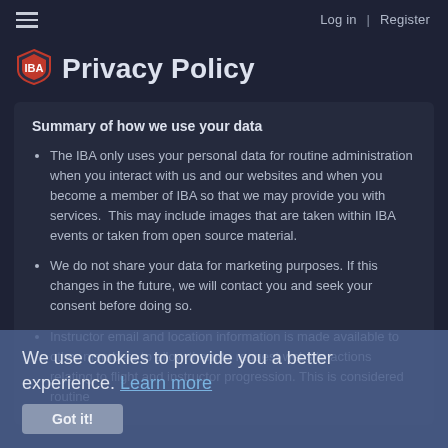Log in | Register
Privacy Policy
Summary of how we use your data
The IBA only uses your personal data for routine administration when you interact with us and our websites and when you become a member of IBA so that we may provide you with services. This may include images that are taken within IBA events or taken from open source material.
We do not share your data for marketing purposes. If this changes in the future, we will contact you and seek your consent before doing so.
Instructor email and location information is made available to other members to allow them to request website actions relating to flight and instructor progression. This is considered routine
We use cookies to provide you a better experience. Learn more
Got it!